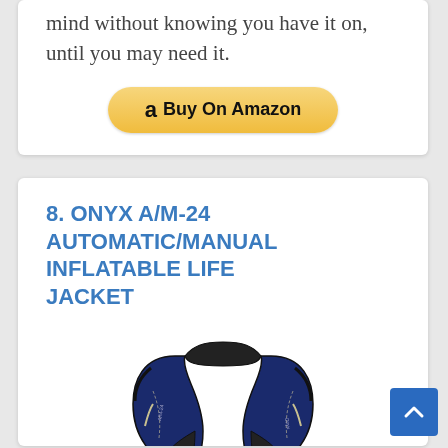mind without knowing you have it on, until you may need it.
[Figure (other): Amazon Buy On Amazon button (gold rounded rectangle with Amazon logo 'a' and text 'Buy On Amazon')]
8. ONYX A/M-24 AUTOMATIC/MANUAL INFLATABLE LIFE JACKET
[Figure (photo): Onyx A/M-24 inflatable life jacket in navy blue and black, shown inflated in horseshoe/collar shape with orange inflation handle at the bottom.]